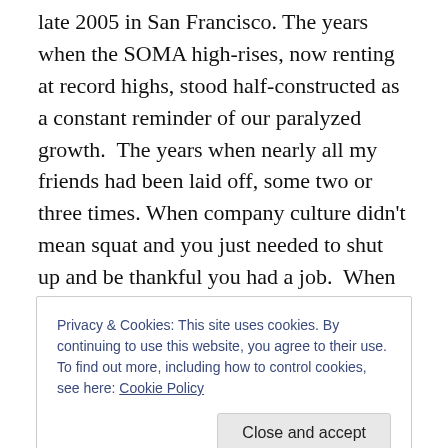late 2005 in San Francisco. The years when the SOMA high-rises, now renting at record highs, stood half-constructed as a constant reminder of our paralyzed growth.  The years when nearly all my friends had been laid off, some two or three times. When company culture didn't mean squat and you just needed to shut up and be thankful you had a job.  When working for a startup was anything but glamorous and not something I bragged about at parties.
More than decade has passed since the bust of 2001 and
Privacy & Cookies: This site uses cookies. By continuing to use this website, you agree to their use.
To find out more, including how to control cookies, see here: Cookie Policy
Close and accept
the near-decimation of an entire ecosystem can be